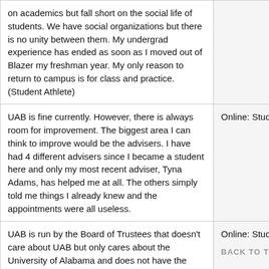| Comment | Type |
| --- | --- |
| on academics but fall short on the social life of students. We have social organizations but there is no unity between them. My undergrad experience has ended as soon as I moved out of Blazer my freshman year. My only reason to return to campus is for class and practice. (Student Athlete) |  |
| UAB is fine currently. However, there is always room for improvement. The biggest area I can think to improve would be the advisers. I have had 4 different advisers since I became a student here and only my most recent adviser, Tyna Adams, has helped me at all. The others simply told me things I already knew and the appointments were all useless. | Online: Student |
| UAB is run by the Board of Trustees that doesn't care about UAB but only cares about the University of Alabama and does not have the community's best interest in mind | Online: Student |
| UAB really cares about attracting freshman | Online: |